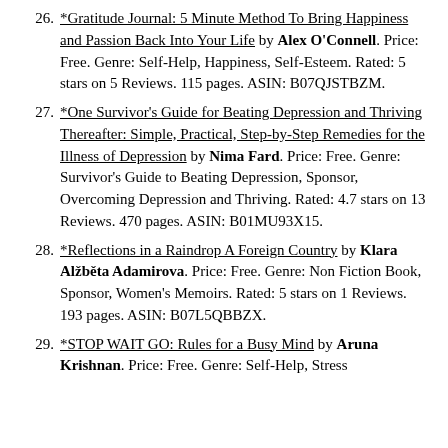26. *Gratitude Journal: 5 Minute Method To Bring Happiness and Passion Back Into Your Life by Alex O'Connell. Price: Free. Genre: Self-Help, Happiness, Self-Esteem. Rated: 5 stars on 5 Reviews. 115 pages. ASIN: B07QJSTBZM.
27. *One Survivor's Guide for Beating Depression and Thriving Thereafter: Simple, Practical, Step-by-Step Remedies for the Illness of Depression by Nima Fard. Price: Free. Genre: Survivor's Guide to Beating Depression, Sponsor, Overcoming Depression and Thriving. Rated: 4.7 stars on 13 Reviews. 470 pages. ASIN: B01MU93X15.
28. *Reflections in a Raindrop A Foreign Country by Klara Alžběta Adamirova. Price: Free. Genre: Non Fiction Book, Sponsor, Women's Memoirs. Rated: 5 stars on 1 Reviews. 193 pages. ASIN: B07L5QBBZX.
29. *STOP WAIT GO: Rules for a Busy Mind by Aruna Krishnan. Price: Free. Genre: Self-Help, Stress...